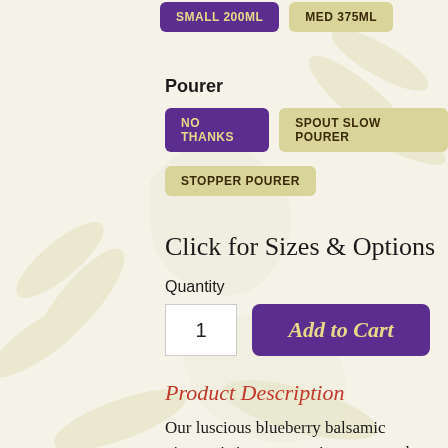SMALL 200ML
MED 375ML
Pourer
NO THANKS
SPOUT SLOW POURER
STOPPER POURER
Click for Sizes & Options
Quantity
1
Add to Cart
Product Description
Our luscious blueberry balsamic vinegar is just as amazing over garden salad as it is over fruit salad. When paired with